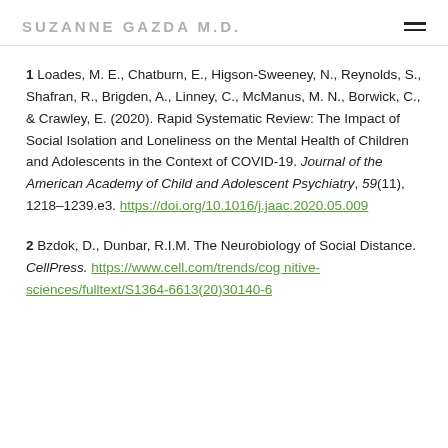SUZANNE GAZDA M.D.
1 Loades, M. E., Chatburn, E., Higson-Sweeney, N., Reynolds, S., Shafran, R., Brigden, A., Linney, C., McManus, M. N., Borwick, C., & Crawley, E. (2020). Rapid Systematic Review: The Impact of Social Isolation and Loneliness on the Mental Health of Children and Adolescents in the Context of COVID-19. Journal of the American Academy of Child and Adolescent Psychiatry, 59(11), 1218–1239.e3. https://doi.org/10.1016/j.jaac.2020.05.009
2 Bzdok, D., Dunbar, R.I.M. The Neurobiology of Social Distance. CellPress. https://www.cell.com/trends/cognitive-sciences/fulltext/S1364-6613(20)30140-6